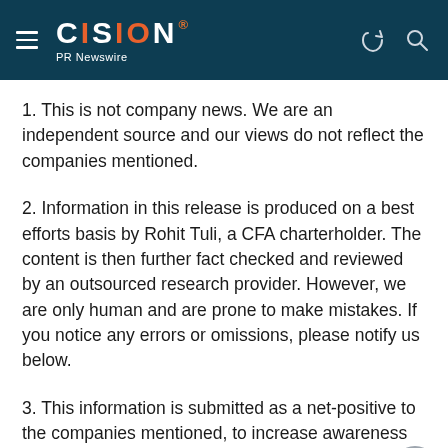CISION PR Newswire
1. This is not company news. We are an independent source and our views do not reflect the companies mentioned.
2. Information in this release is produced on a best efforts basis by Rohit Tuli, a CFA charterholder. The content is then further fact checked and reviewed by an outsourced research provider. However, we are only human and are prone to make mistakes. If you notice any errors or omissions, please notify us below.
3. This information is submitted as a net-positive to the companies mentioned, to increase awareness for